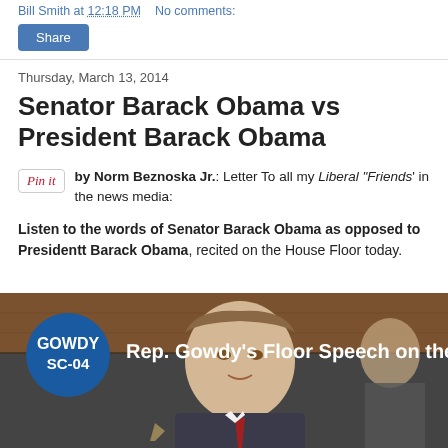Bill Smith at 12:18 PM   No comments:
Share
Thursday, March 13, 2014
Senator Barack Obama vs President Barack Obama
Pin it   by Norm Beznoska Jr.: Letter To all my Liberal "Friends" in the news media:
Listen to the words of Senator Barack Obama as opposed to Presidentt Barack Obama, recited on the House Floor today.
[Figure (screenshot): Video thumbnail showing Rep. Gowdy's Floor Speech on the ENFORCE the law act, with GOWDY SC-04 badge visible and a man speaking at a podium]